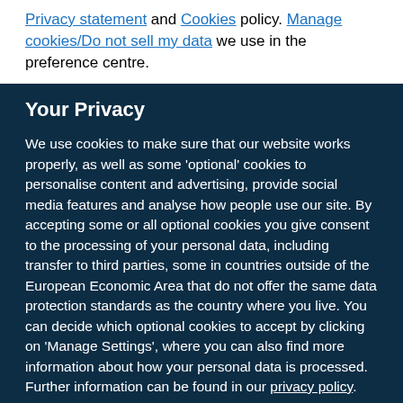Privacy statement and Cookies policy. Manage cookies/Do not sell my data we use in the preference centre.
Your Privacy
We use cookies to make sure that our website works properly, as well as some 'optional' cookies to personalise content and advertising, provide social media features and analyse how people use our site. By accepting some or all optional cookies you give consent to the processing of your personal data, including transfer to third parties, some in countries outside of the European Economic Area that do not offer the same data protection standards as the country where you live. You can decide which optional cookies to accept by clicking on 'Manage Settings', where you can also find more information about how your personal data is processed. Further information can be found in our privacy policy.
Accept all cookies
Manage preferences